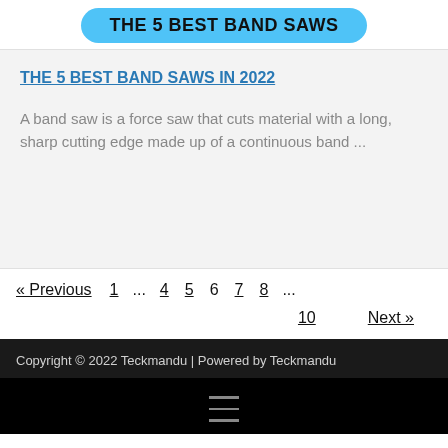THE 5 BEST BAND SAWS
THE 5 BEST BAND SAWS IN 2022
A band saw is a force saw that cuts material with a long, sharp cutting edge made up of a continuous band ...
« Previous  1  ...  4  5  6  7  8  ...  10  Next »
Copyright © 2022 Teckmandu | Powered by Teckmandu